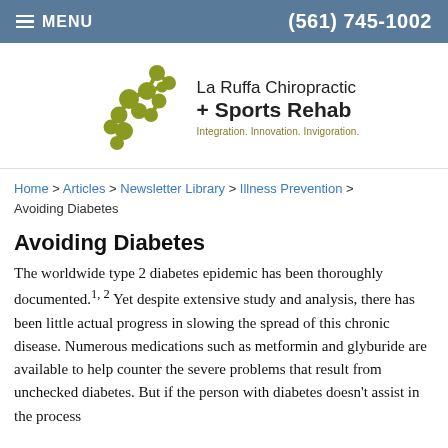≡ MENU    (561) 745-1002
[Figure (logo): La Ruffa Chiropractic + Sports Rehab logo with olive-green molecular/dot design. Tagline: Integration. Innovation. Invigoration.]
Home > Articles > Newsletter Library > Illness Prevention > Avoiding Diabetes
Avoiding Diabetes
The worldwide type 2 diabetes epidemic has been thoroughly documented.1,2 Yet despite extensive study and analysis, there has been little actual progress in slowing the spread of this chronic disease. Numerous medications such as metformin and glyburide are available to help counter the severe problems that result from unchecked diabetes. But if the person with diabetes doesn't assist in the process